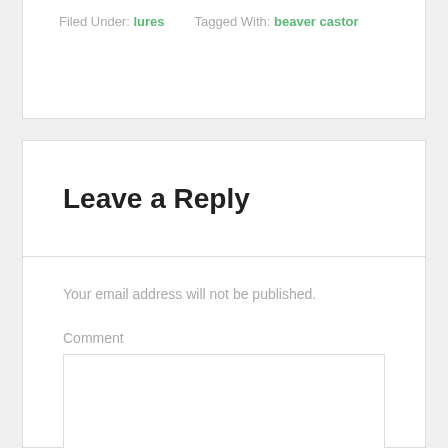Filed Under: lures    Tagged With: beaver castor
Leave a Reply
Your email address will not be published.
Comment